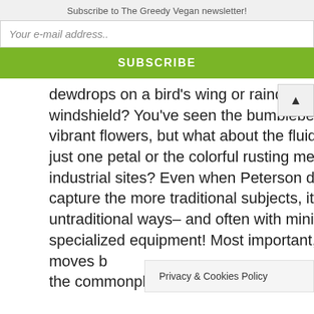Subscribe to The Greedy Vegan newsletter!
Your e-mail address..
SUBSCRIBE
dewdrops on a bird's wing or raindrops on a car windshield? You've seen the bumblebees on vibrant flowers, but what about the fluid edge of just one petal or the colorful rusting metal at industrial sites? Even when Peterson does capture the more traditional subjects, it's done in untraditional ways– and often with minimal specialized equipment! Most important, he moves b... the commonplace to i...
Privacy & Cookies Policy